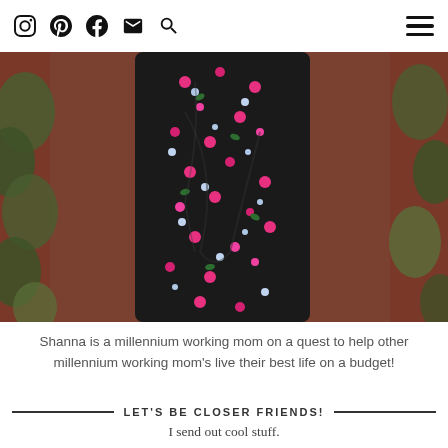Social media icons: Instagram, Pinterest, Facebook, Email, Search; hamburger menu
[Figure (photo): Close-up photo of a woman wearing a black floral dress with pink and blue flowers, standing in front of a brick wall with ivy.]
Shanna is a millennium working mom on a quest to help other millennium working mom's live their best life on a budget!
LET'S BE CLOSER FRIENDS!
I send out cool stuff.
Don't believe me, sign up and see!